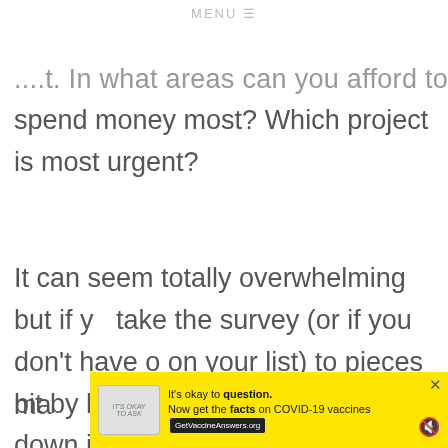MENU ☰
...t. In what areas can you afford to spend money most? Which project is most urgent?
It can seem totally overwhelming but if you take the survey (or if you don't have one on your list) to pieces bit by bit and break everything down into individual steps it can make it seem more ma…
574
WHAT'S NEXT → 6 Tips On Staying...
[Figure (other): Advertisement banner: yellow background, COVID-19 vaccine info ad. Text: It's okay to question. Now get the facts on COVID-19 vaccines. GetVaccineAnswers.org]